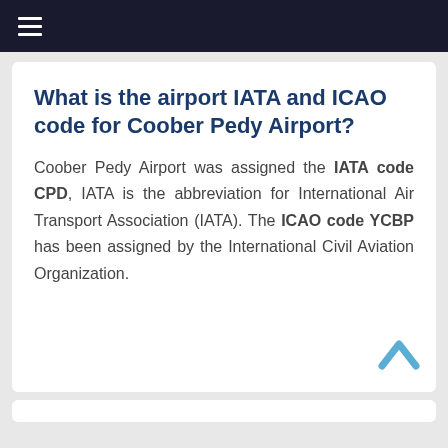☰
What is the airport IATA and ICAO code for Coober Pedy Airport?
Coober Pedy Airport was assigned the IATA code CPD, IATA is the abbreviation for International Air Transport Association (IATA). The ICAO code YCBP has been assigned by the International Civil Aviation Organization.